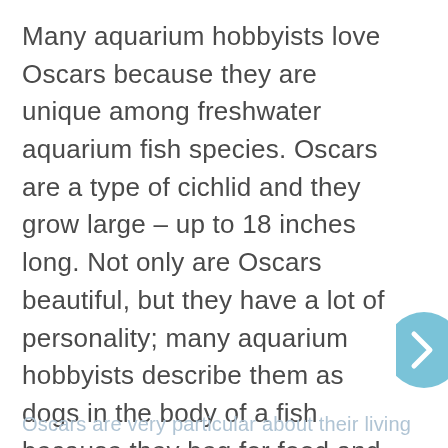Many aquarium hobbyists love Oscars because they are unique among freshwater aquarium fish species. Oscars are a type of cichlid and they grow large – up to 18 inches long. Not only are Oscars beautiful, but they have a lot of personality; many aquarium hobbyists describe them as dogs in the body of a fish because they beg for food and seek attention from their owners. Although Oscars make wonderful pets, they do present some inherent challenges. The biggest obstacle with Oscars is keeping them from destroying your live plants.
Oscars are very particular about their living